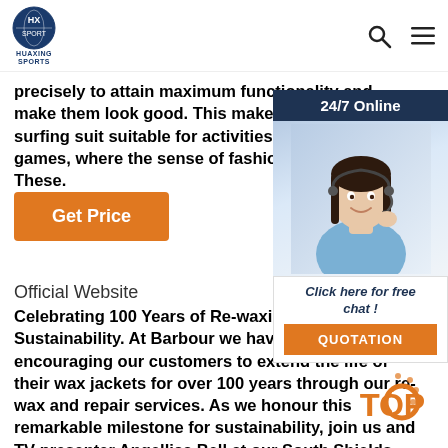HUAXING SPORTS [logo] | Search | Menu
precisely to attain maximum functionality and make them look good. This makes the. custom surfing suit suitable for activities such as water games, where the sense of fashion is crucial. These.
[Figure (other): Orange 'Get Price' button (top)]
[Figure (other): 24/7 Online customer service widget with agent photo, 'Click here for free chat!' text, and orange QUOTATION button]
Official Website
Celebrating 100 Years of Re-waxing and Sustainability. At Barbour we have been encouraging our customers to extend the life of their wax jackets for over 100 years through our re-wax and repair services. As we honour this remarkable milestone for sustainability, join us and TV presenter Angellica Bell at our South Shields factory.
[Figure (other): Orange 'Get Price' button (bottom)]
[Figure (other): Orange and white TOP badge/watermark in bottom right corner]